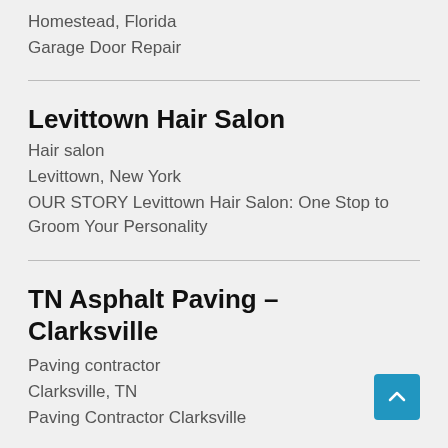Homestead, Florida
Garage Door Repair
Levittown Hair Salon
Hair salon
Levittown, New York
OUR STORY Levittown Hair Salon: One Stop to Groom Your Personality
TN Asphalt Paving – Clarksville
Paving contractor
Clarksville, TN
Paving Contractor Clarksville